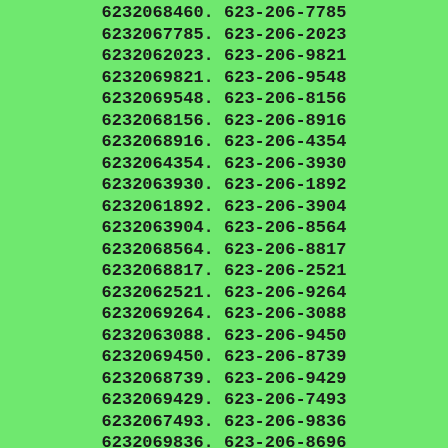6232068460. 623-206-7785
6232067785. 623-206-2023
6232062023. 623-206-9821
6232069821. 623-206-9548
6232069548. 623-206-8156
6232068156. 623-206-8916
6232068916. 623-206-4354
6232064354. 623-206-3930
6232063930. 623-206-1892
6232061892. 623-206-3904
6232063904. 623-206-8564
6232068564. 623-206-8817
6232068817. 623-206-2521
6232062521. 623-206-9264
6232069264. 623-206-3088
6232063088. 623-206-9450
6232069450. 623-206-8739
6232068739. 623-206-9429
6232069429. 623-206-7493
6232067493. 623-206-9836
6232069836. 623-206-8696
6232068696. 623-206-8287
6232068287. 623-206-3694
6232063694. 623-206-0439 Caller Name Identify My Caller 6232060439. 623-